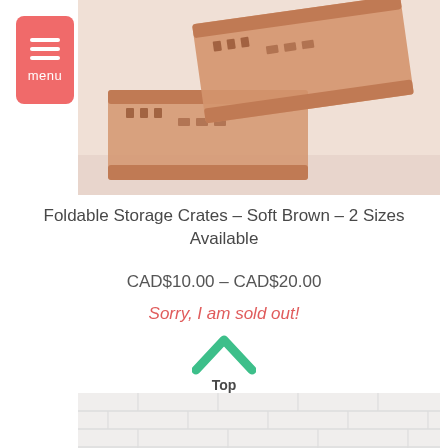[Figure (photo): Photo of foldable storage crates in soft brown/rose gold color, stacked and open, on a white surface]
Foldable Storage Crates – Soft Brown – 2 Sizes Available
CAD$10.00 – CAD$20.00
Sorry, I am sold out!
[Figure (other): Green upward chevron/arrow icon with 'Top' label beneath]
[Figure (photo): Bottom portion of a product photo showing white brick/tile background]